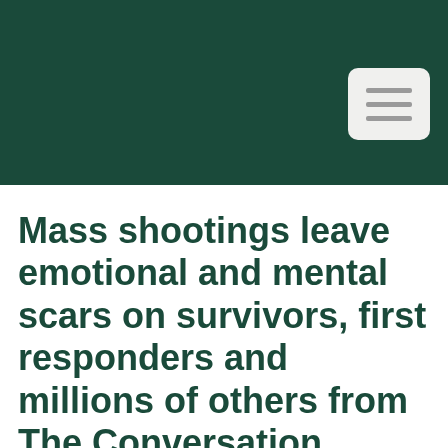[Figure (screenshot): Dark green header bar with a light grey hamburger menu button (three horizontal lines) in the upper right corner]
Mass shootings leave emotional and mental scars on survivors, first responders and millions of others from The Conversation